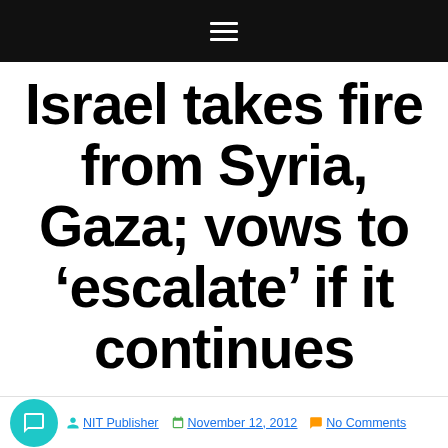Navigation bar with hamburger menu
Israel takes fire from Syria, Gaza; vows to ‘escalate’ if it continues
NIT Publisher  November 12, 2012  No Comments